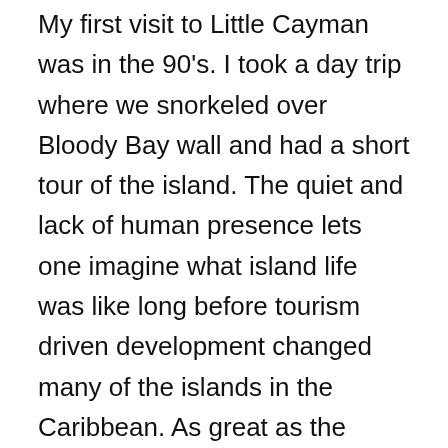My first visit to Little Cayman was in the 90's. I took a day trip where we snorkeled over Bloody Bay wall and had a short tour of the island. The quiet and lack of human presence lets one imagine what island life was like long before tourism driven development changed many of the islands in the Caribbean. As great as the diving is on Grand Cayman, thoughts of diving on Little Cayman never quite went away.
The Cayman Islands regularly appear on lists of leading destinations for diving. Recognizing the importance of the marine environment, the Cayman government initiated a marine parks system on all three islands in the mid 1980's